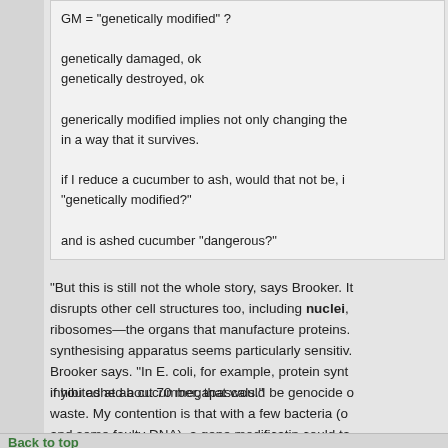GM = "genetically modified" ?

genetically damaged, ok
genetically destroyed, ok

genericaly modified implies not only changing the in a way that it survives.

if I reduce a cucumber to ash, would that not be, i "genetically modified?"

and is ashed cucumber "dangerous?"
"But this is still not the whole story, says Brooker. It disrupts other cell structures too, including nuclei, ribosomes—the organs that manufacture proteins. synthesising apparatus seems particularly sensitive, Brooker says. "In E. coli, for example, protein synt inhibited at about 70 megapascals."
if you ashed a cucumber, that would be genocide o waste. My contention is that with a few bacteria (o and some faulty DNA), a gene modificatin could ta ideal??
Back to top